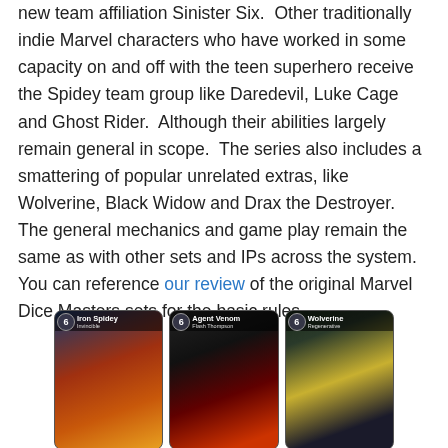new team affiliation Sinister Six.  Other traditionally indie Marvel characters who have worked in some capacity on and off with the teen superhero receive the Spidey team group like Daredevil, Luke Cage and Ghost Rider.  Although their abilities largely remain general in scope.  The series also includes a smattering of popular unrelated extras, like Wolverine, Black Widow and Drax the Destroyer.  The general mechanics and game play remain the same as with other sets and IPs across the system.  You can reference our review of the original Marvel Dice Masters sets for the basic rules.
[Figure (photo): Three Marvel Dice Masters game cards shown side by side: Iron Spidey (Invincible), Agent Venom (Flash Thompson), and Wolverine (Regenerative), each with a cost of 6 shown in the upper left.]